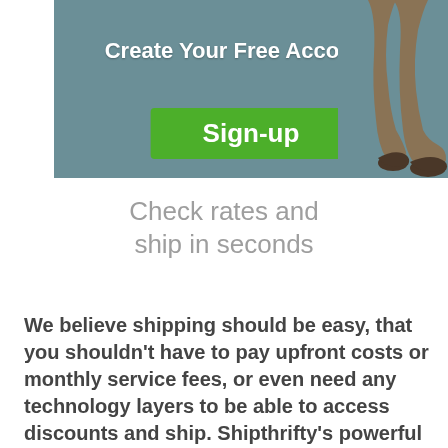[Figure (illustration): Banner with teal/grey background showing legs of a person walking, with bold white text 'Create Your Free Account' and a green Sign-up button]
Check rates and ship in seconds
We believe shipping should be easy, that you shouldn't have to pay upfront costs or monthly service fees, or even need any technology layers to be able to access discounts and ship. Shipthrifty's powerful shipping tools are online and accessible with an internet connection, login, and